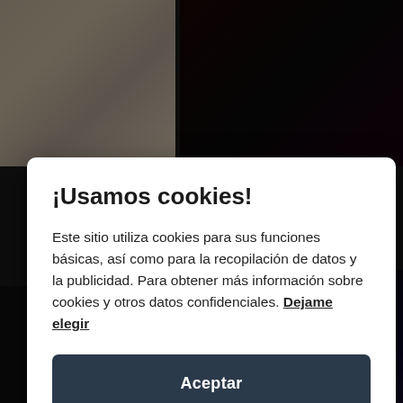[Figure (screenshot): Website background showing album covers on a dark grid layout: top-left shows a baby angel image, top-right shows a dark rock/metal album cover with star graphics and pink robot, bottom-right shows Xanceda fantasy album cover with dragon and castle]
¡Usamos cookies!
Este sitio utiliza cookies para sus funciones básicas, así como para la recopilación de datos y la publicidad. Para obtener más información sobre cookies y otros datos confidenciales. Dejame elegir
Aceptar
Close